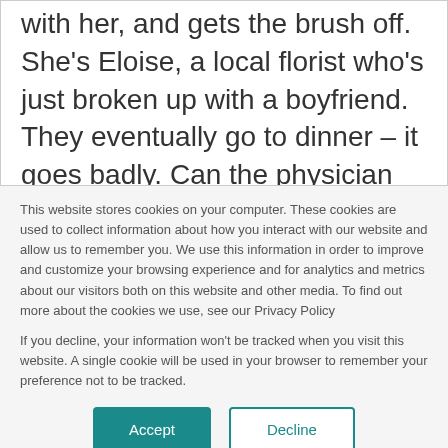with her, and gets the brush off. She's Eloise, a local florist who's just broken up with a boyfriend. They eventually go to dinner – it goes badly. Can the physician heal himself?
This website stores cookies on your computer. These cookies are used to collect information about how you interact with our website and allow us to remember you. We use this information in order to improve and customize your browsing experience and for analytics and metrics about our visitors both on this website and other media. To find out more about the cookies we use, see our Privacy Policy
If you decline, your information won't be tracked when you visit this website. A single cookie will be used in your browser to remember your preference not to be tracked.